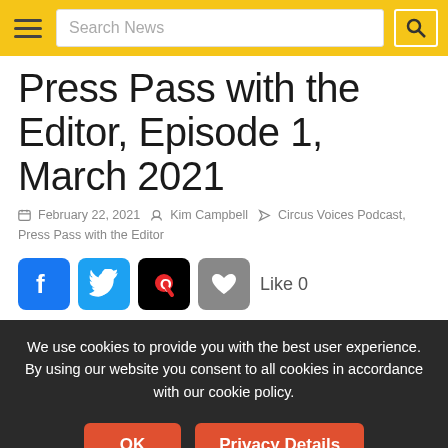Search News
Press Pass with the Editor, Episode 1, March 2021
February 22, 2021  Kim Campbell  Circus Voices Podcast, Press Pass with the Editor
[Figure (infographic): Social sharing icons row: Facebook (blue), Twitter (blue), Quora (black with orange Q), heart like button (gray), Like 0 label]
We use cookies to provide you with the best user experience. By using our website you consent to all cookies in accordance with our cookie policy.
OK  Privacy Details